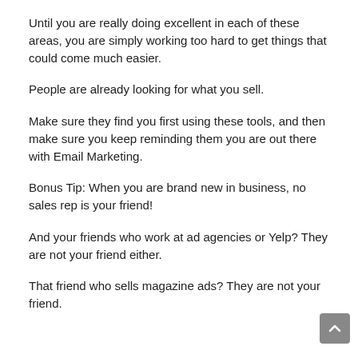Until you are really doing excellent in each of these areas, you are simply working too hard to get things that could come much easier.
People are already looking for what you sell.
Make sure they find you first using these tools, and then make sure you keep reminding them you are out there with Email Marketing.
Bonus Tip: When you are brand new in business, no sales rep is your friend!
And your friends who work at ad agencies or Yelp? They are not your friend either.
That friend who sells magazine ads? They are not your friend.